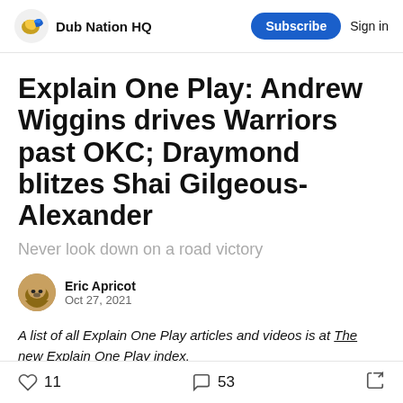Dub Nation HQ  Subscribe  Sign in
Explain One Play: Andrew Wiggins drives Warriors past OKC; Draymond blitzes Shai Gilgeous-Alexander
Never look down on a road victory
Eric Apricot
Oct 27, 2021
A list of all Explain One Play articles and videos is at The new Explain One Play index.
11  53